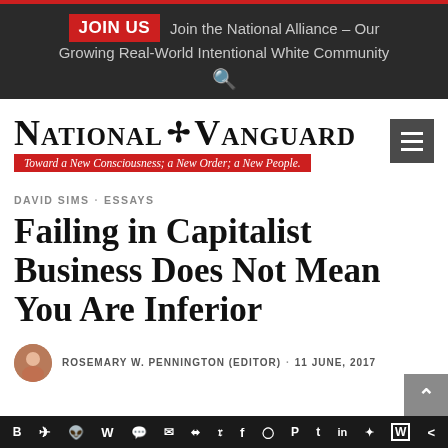JOIN US  Join the National Alliance – Our Growing Real-World Intentional White Community
[Figure (logo): National Vanguard logo with emblem and red tagline bar reading: Toward a New Consciousness; a New Order; a New People.]
DAVID SIMS · ESSAYS
Failing in Capitalist Business Does Not Mean You Are Inferior
ROSEMARY W. PENNINGTON (EDITOR) · 11 JUNE, 2017
Share icons: VK, Telegram, Reddit, WordPress, WhatsApp, Email, Buffer, Twitter, Facebook, Instagram, Pinterest, Tumblr, LinkedIn, Gift, Wix, Share